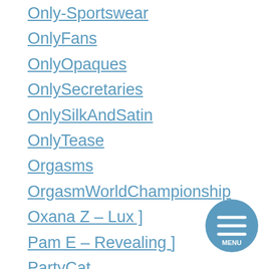Only-Sportswear
OnlyFans
OnlyOpaques
OnlySecretaries
OnlySilkAndSatin
OnlyTease
Orgasms
OrgasmWorldChampionship
Oxana Z – Lux ]
Pam E – Revealing ]
PartyCat
passion-hd
PDD Goldie Off Road]